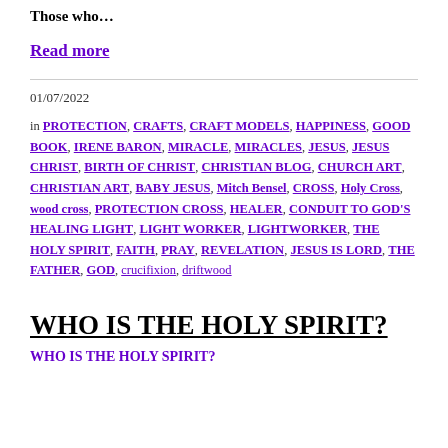Those who…
Read more
01/07/2022
in PROTECTION, CRAFTS, CRAFT MODELS, HAPPINESS, GOOD BOOK, IRENE BARON, MIRACLE, MIRACLES, JESUS, JESUS CHRIST, BIRTH OF CHRIST, CHRISTIAN BLOG, CHURCH ART, CHRISTIAN ART, BABY JESUS, Mitch Bensel, CROSS, Holy Cross, wood cross, PROTECTION CROSS, HEALER, CONDUIT TO GOD'S HEALING LIGHT, LIGHT WORKER, LIGHTWORKER, THE HOLY SPIRIT, FAITH, PRAY, REVELATION, JESUS IS LORD, THE FATHER, GOD, crucifixion, driftwood
WHO IS THE HOLY SPIRIT?
WHO IS THE HOLY SPIRIT?